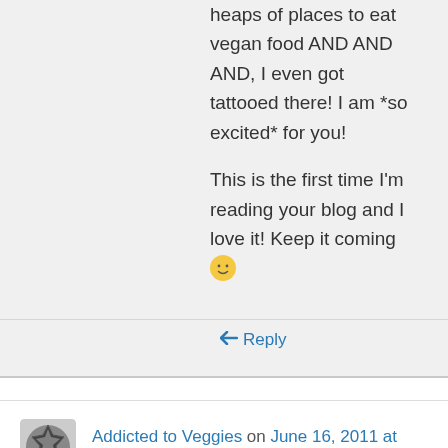heaps of places to eat vegan food AND AND AND, I even got tattooed there! I am *so excited* for you!
This is the first time I'm reading your blog and I love it! Keep it coming 🙂
↩ Reply
Addicted to Veggies on June 16, 2011 at 9:09 pm
OMG! ENF is my STORE! Okay, so it;s not really *my* store per say, but other than Farmers Markets it's where I shop exclusively! Someone just pointed me in the direction of your lovely